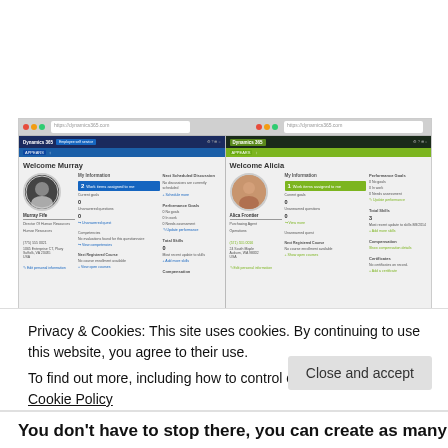[Figure (screenshot): Side-by-side screenshots of Microsoft Dynamics HR application showing two user dashboards: left panel shows 'Welcome Murray' with a profile photo, personal information, and HR metrics; right panel shows 'Welcome Alicia' with similar layout and green color scheme.]
Privacy & Cookies: This site uses cookies. By continuing to use this website, you agree to their use.
To find out more, including how to control cookies, see here: Cookie Policy
Close and accept
You don't have to stop there, you can create as many